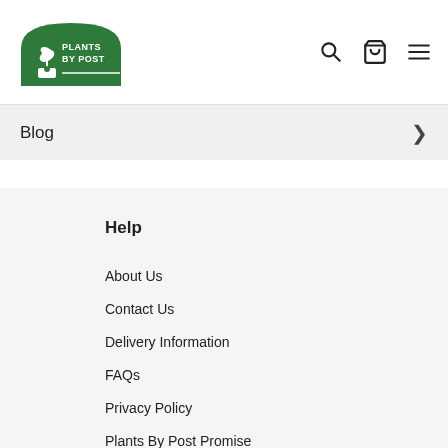[Figure (logo): Plants By Post logo — green arch shape with plant icon and text 'PLANTS BY POST']
[Figure (infographic): Header icons: search (magnifying glass), shopping cart, and hamburger menu]
Blog
Help
About Us
Contact Us
Delivery Information
FAQs
Privacy Policy
Plants By Post Promise
Return & Refund Policy